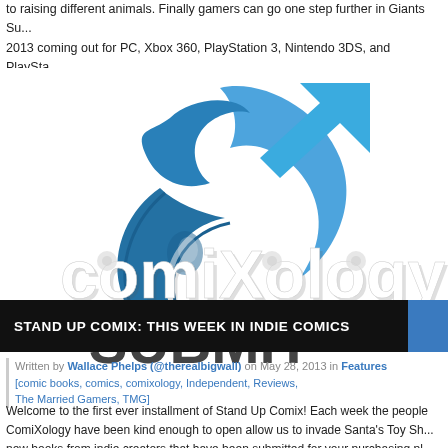to raising different animals. Finally gamers can go one step further in Giants Su... 2013 coming out for PC, Xbox 360, PlayStation 3, Nintendo 3DS, and PlaySta... not a simple point... Read More »
[Figure (logo): ComiXology Submit logo — large stylized blue arrow/dolphin graphic above white bold text 'comiXology' and dark gray bold text 'SUBMIT']
STAND UP COMIX: THIS WEEK IN INDIE COMICS
Written by Wallace Phelps (@therealbigwall) on May 28, 2013 in Features [comic books, comics, comixology, Independent, Reviews, The Married Gamers, TMG]
Welcome to the first ever installment of Stand Up Comix! Each week the people ComiXology have been kind enough to open allow us to invade Santa's Toy Sh... new books from indie creators that have been submitted for your purchasing pl... those books and... Read More »